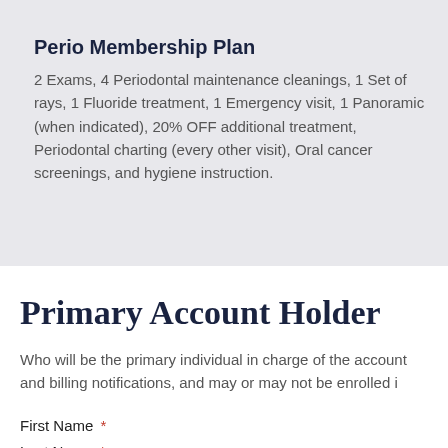Perio Membership Plan
2 Exams, 4 Periodontal maintenance cleanings, 1 Set of rays, 1 Fluoride treatment, 1 Emergency visit, 1 Panoramic (when indicated), 20% OFF additional treatment, Periodontal charting (every other visit), Oral cancer screenings, and hygiene instruction.
Primary Account Holder
Who will be the primary individual in charge of the account and billing notifications, and may or may not be enrolled in
First Name *
Last Name *